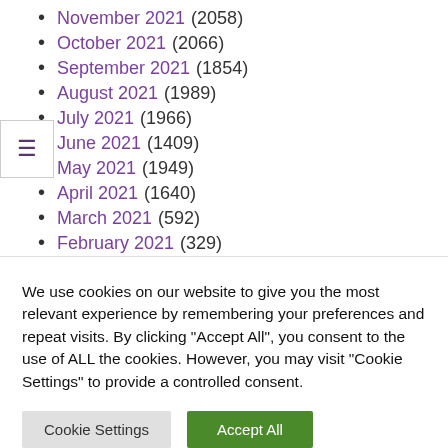November 2021 (2058)
October 2021 (2066)
September 2021 (1854)
August 2021 (1989)
July 2021 (1966)
June 2021 (1409)
May 2021 (1949)
April 2021 (1640)
March 2021 (592)
February 2021 (329)
We use cookies on our website to give you the most relevant experience by remembering your preferences and repeat visits. By clicking "Accept All", you consent to the use of ALL the cookies. However, you may visit "Cookie Settings" to provide a controlled consent.
Cookie Settings | Accept All